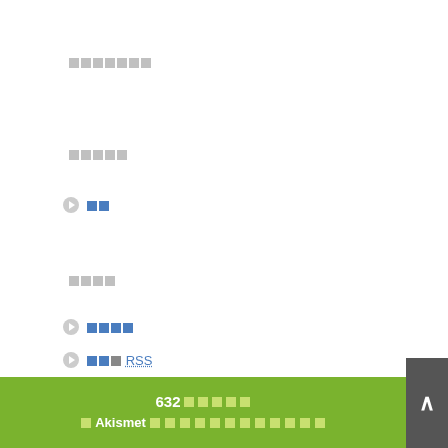□□□□□□□
□□□□□
□□
□□□□
□□□□
□□□ RSS
□□□□□ RSS
WordPress.org
□□□□□□□□□
632□□□□□ □ Akismet □□□□□□□□□□□□□